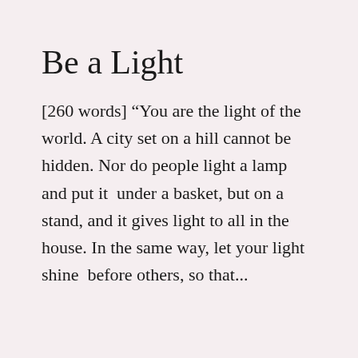Be a Light
[260 words] “You are the light of the world. A city set on a hill cannot be hidden. Nor do people light a lamp and put it  under a basket, but on a stand, and it gives light to all in the house. In the same way, let your light shine  before others, so that...